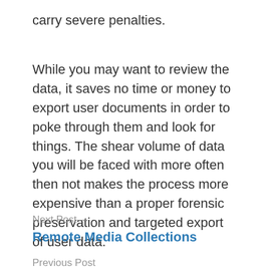carry severe penalties.
While you may want to review the data, it saves no time or money to export user documents in order to poke through them and look for things. The shear volume of data you will be faced with more often then not makes the process more expensive than a proper forensic preservation and targeted export of user data.
Next Post—
Remote Media Collections
Previous Post